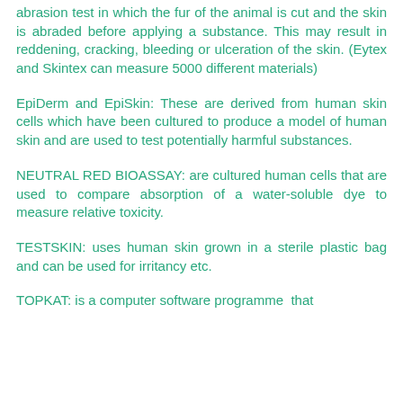abrasion test in which the fur of the animal is cut and the skin is abraded before applying a substance. This may result in reddening, cracking, bleeding or ulceration of the skin. (Eytex and Skintex can measure 5000 different materials)
EpiDerm and EpiSkin: These are derived from human skin cells which have been cultured to produce a model of human skin and are used to test potentially harmful substances.
NEUTRAL RED BIOASSAY: are cultured human cells that are used to compare absorption of a water-soluble dye to measure relative toxicity.
TESTSKIN: uses human skin grown in a sterile plastic bag and can be used for irritancy etc.
TOPKAT: is a computer software programme that